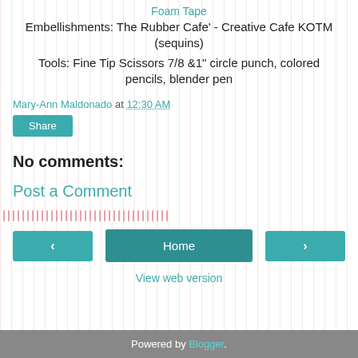Foam Tape
Embellishments:  The Rubber Cafe' - Creative Cafe KOTM (sequins)
Tools:  Fine Tip Scissors 7/8 &1" circle punch, colored pencils, blender pen
Mary-Ann Maldonado at 12:30 AM
Share
No comments:
Post a Comment
Home
View web version
Powered by Blogger.